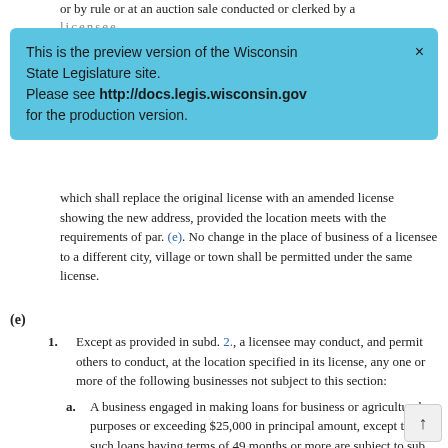or by rule or at an auction sale conducted or clerked by a licensee.
This is the preview version of the Wisconsin State Legislature site. Please see http://docs.legis.wisconsin.gov for the production version.
which shall replace the original license with an amended license showing the new address, provided the location meets with the requirements of par. (e). No change in the place of business of a licensee to a different city, village or town shall be permitted under the same license.
(e)
1. Except as provided in subd. 2., a licensee may conduct, and permit others to conduct, at the location specified in its license, any one or more of the following businesses not subject to this section:
a. A business engaged in making loans for business or agricultural purposes or exceeding $25,000 in principal amount, except that all such loans having terms of 49 months or more are subject to sub. (7) (gm) 2. or 4.
b. A business engaged in making first lien real estate mortgage loans under ss. 138.051 to 138.06.
c. A loan, finance or discount business under ss. 218.0160 to 218.0163.